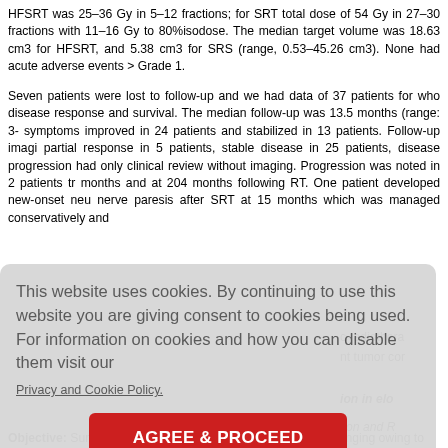HFSRT was 25–36 Gy in 5–12 fractions; for SRT total dose of 54 Gy in 27–30 fractions with 11–16 Gy to 80%isodose. The median target volume was 18.63 cm3 for HFSRT, and 5.38 cm3 for SRS (range, 0.53–45.26 cm3). None had acute adverse events > Grade 1.
Seven patients were lost to follow-up and we had data of 37 patients for whom disease response and survival. The median follow-up was 13.5 months (range: 3- symptoms improved in 24 patients and stabilized in 13 patients. Follow-up imagi partial response in 5 patients, stable disease in 25 patients, disease progression had only clinical review without imaging. Progression was noted in 2 patients tr months and at 204 months following RT. One patient developed new-onset neu nerve paresis after SRT at 15 months which was managed conservatively and
c radiotherapy nt tumor co
tion in elo
tion and R
[Figure (other): Cookie consent banner overlay with text 'This website uses cookies. By continuing to use this website you are giving consent to cookies being used. For information on cookies and how you can disable them visit our Privacy and Cookie Policy.' and a red 'AGREE & PROCEED' button.]
Objective: Surgical resection of eloquent area glioma is challenging owing to the